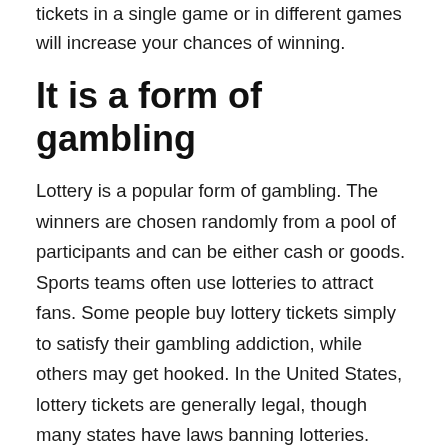tickets in a single game or in different games will increase your chances of winning.
It is a form of gambling
Lottery is a popular form of gambling. The winners are chosen randomly from a pool of participants and can be either cash or goods. Sports teams often use lotteries to attract fans. Some people buy lottery tickets simply to satisfy their gambling addiction, while others may get hooked. In the United States, lottery tickets are generally legal, though many states have laws banning lotteries.